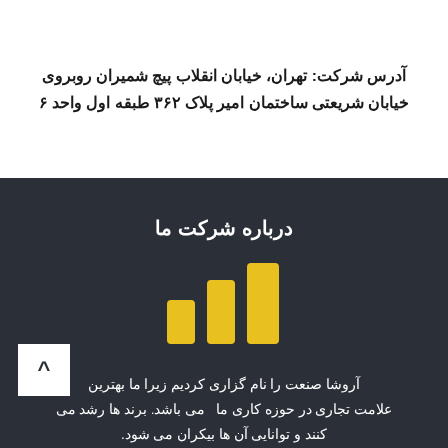آدرس شرکت: تهران، خیابان انقلاب پیچ شمیران روبروی خیابان شریعتی ساختمان امیر پلاک ۳۶۲ طبقه اول واحد ۶
درباره شرکت ما
[Figure (logo): Three yellow bar chart-like shapes of increasing height forming a logo icon]
آروشا صنعت را نام گزاری کردیم زیرا ما بهترین علامت تجاری در حوزه کاری ما می باشد. برند ها رشد می کنند و توانایی آن ها بیکران می شود.